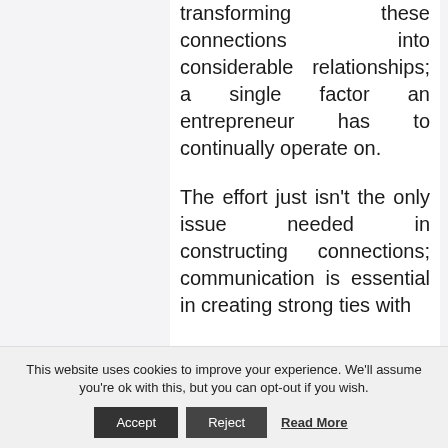transforming these connections into considerable relationships; a single factor an entrepreneur has to continually operate on.

The effort just isn't the only issue needed in constructing connections; communication is essential in creating strong ties with
This website uses cookies to improve your experience. We'll assume you're ok with this, but you can opt-out if you wish.